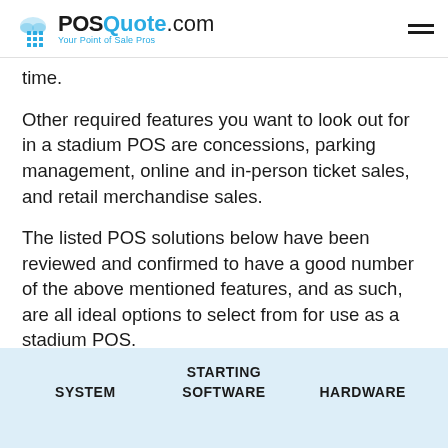POSQuote.com — Your Point of Sale Pros
time.
Other required features you want to look out for in a stadium POS are concessions, parking management, online and in-person ticket sales, and retail merchandise sales.
The listed POS solutions below have been reviewed and confirmed to have a good number of the above mentioned features, and as such, are all ideal options to select from for use as a stadium POS.
| SYSTEM | STARTING SOFTWARE | HARDWARE |
| --- | --- | --- |